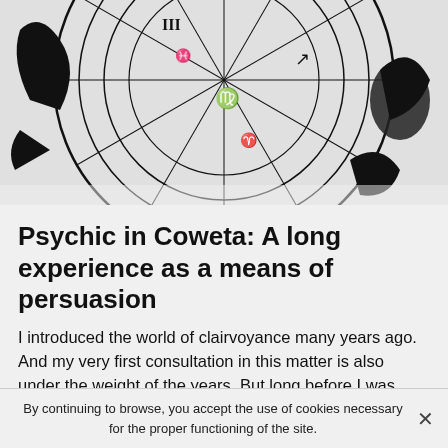[Figure (illustration): Partial zodiac/astrology wheel chart in black and white, showing astrological symbols, Roman numerals, and constellation figures including what appears to be Virgo, Sagittarius, and Capricorn signs, with a sun burst at the top.]
Psychic in Coweta: A long experience as a means of persuasion
I introduced the world of clairvoyance many years ago. And my very first consultation in this matter is also under the weight of the years. But long before I was introduced to this profession, my special gift of clairvoyance was awakened within me. Indeed, my very first contact with my gift of clairvoyance probably goes back to when I was younger.
As far as my memory can carry me, I always had the
By continuing to browse, you accept the use of cookies necessary for the proper functioning of the site.